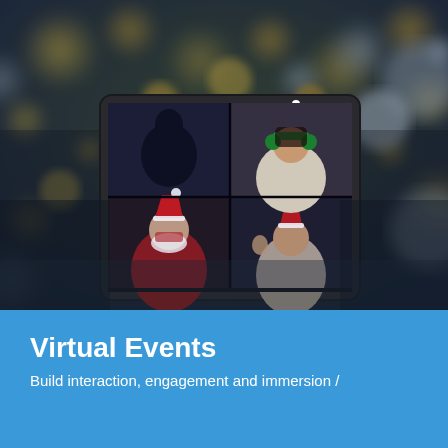[Figure (photo): A blurred bokeh background of a Christmas tree with colorful lights, in front of which is a tablet device showing a video call with four participants wearing festive holiday accessories (Santa hats, elf headband). The overall color palette is warm gold and dark blue.]
Virtual Events
Build interaction, engagement and immersion /